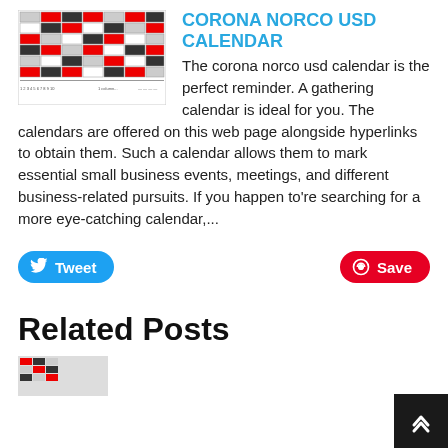[Figure (illustration): Thumbnail image of a corona norco usd calendar with a grid pattern of colored squares (red, black, white)]
CORONA NORCO USD CALENDAR
The corona norco usd calendar is the perfect reminder. A gathering calendar is ideal for you. The calendars are offered on this web page alongside hyperlinks to obtain them. Such a calendar allows them to mark essential small business events, meetings, and different business-related pursuits. If you happen to're searching for a more eye-catching calendar,...
Tweet
Save
Related Posts
[Figure (illustration): Partial thumbnail of a related post calendar image at the bottom of the page]